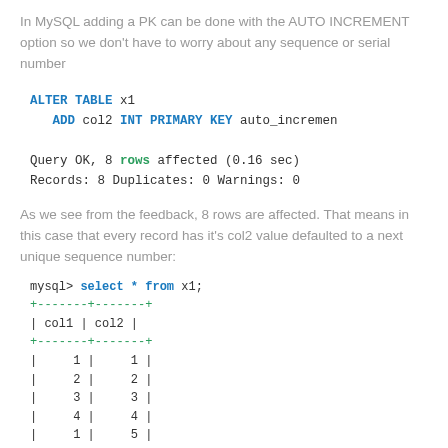In MySQL adding a PK can be done with the AUTO INCREMENT option so we don't have to worry about any sequence or serial number
[Figure (screenshot): SQL code block: ALTER TABLE x1 ADD col2 INT PRIMARY KEY auto_increment; followed by query result: Query OK, 8 rows affected (0.16 sec) Records: 8 Duplicates: 0 Warnings: 0]
As we see from the feedback, 8 rows are affected. That means in this case that every record has it's col2 value defaulted to a next unique sequence number:
[Figure (screenshot): MySQL query: select * from x1; with table output showing col1 and col2 columns with values 1-4 repeated and col2 as 1-8]